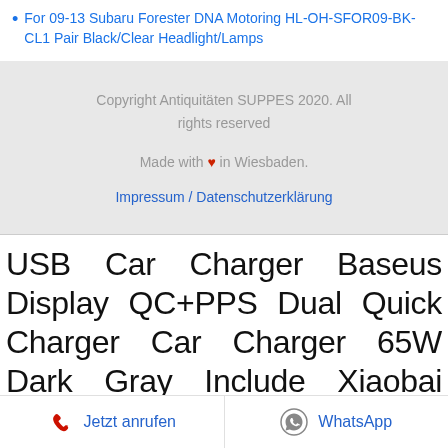For 09-13 Subaru Forester DNA Motoring HL-OH-SFOR09-BK-CL1 Pair Black/Clear Headlight/Lamps
Copyright Antiquitäten SUPPES 2020. All rights reserved
Made with ❤ in Wiesbaden.
Impressum / Datenschutzerklärung
USB Car Charger Baseus Display QC+PPS Dual Quick Charger Car Charger 65W Dark Gray Include Xiaobai Series Fast Charging Cable Type-C to Type-C 100W f…
Jetzt anrufen
WhatsApp